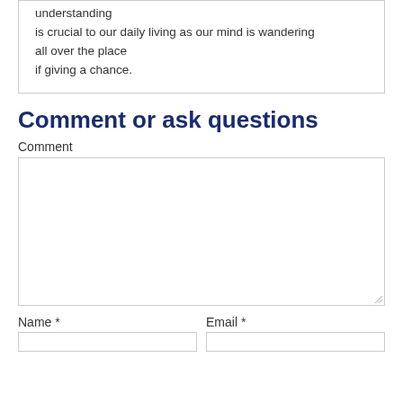understanding
is crucial to our daily living as our mind is wandering
all over the place
if giving a chance.
Comment or ask questions
Comment
[Figure (other): Empty comment textarea input box with resize handle]
Name *
Email *